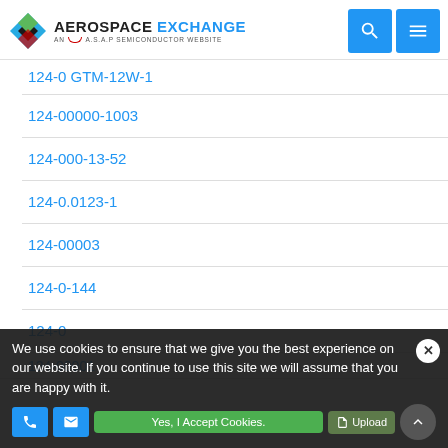AEROSPACE EXCHANGE - AN A.S.A.P SEMICONDUCTOR WEBSITE
124-0 GTM-12W-1
124-00000-1003
124-000-13-52
124-0.0123-1
124-00003
124-0-144
124-0
124-00001
We use cookies to ensure that we give you the best experience on our website. If you continue to use this site we will assume that you are happy with it.